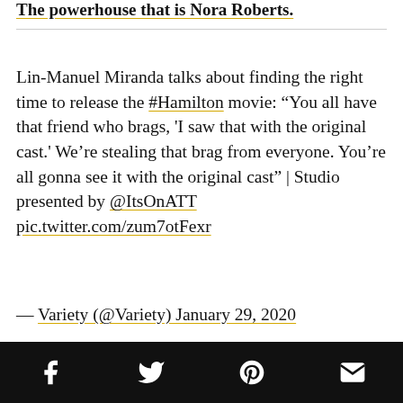The powerhouse that is Nora Roberts.
Lin-Manuel Miranda talks about finding the right time to release the #Hamilton movie: “You all have that friend who brags, 'I saw that with the original cast.' We’re stealing that brag from everyone. You’re all gonna see it with the original cast” | Studio presented by @ItsOnATT pic.twitter.com/zum7otFexr
— Variety (@Variety) January 29, 2020
Social media share bar: Facebook, Twitter, Pinterest, Email